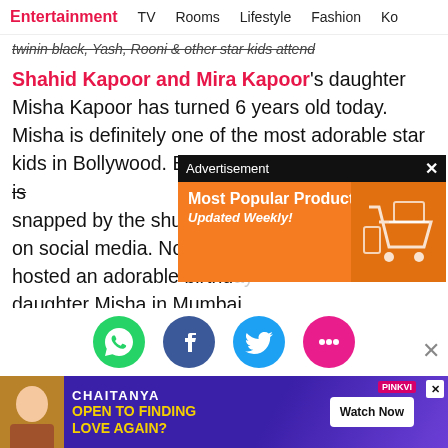Entertainment   TV   Rooms   Lifestyle   Fashion   Ko
twinin black, Yash, Rooni & other star kids attend
Shahid Kapoor and Mira Kapoor's daughter Misha Kapoor has turned 6 years old today. Misha is definitely one of the most adorable star kids in Bollywood. Each time the little munchkin is snapped by the shutterbugs, her pictures go viral on social media. Now, on her birthday, the couple hosted an adorable birthday party for their dear daughter Misha in Mumbai. The party was attended by many star kids including Neelima Azim, Pankaj Kapoor, Supriya Pathak, Karan Johar's twins Yash
[Figure (screenshot): Advertisement overlay with orange background showing 'Most Popular Products Updated Weekly!' text and shopping icons]
[Figure (infographic): Social share icons row: WhatsApp (green), Facebook (blue), Twitter (blue), chat/comments (pink)]
[Figure (screenshot): Bottom advertisement banner for Chaitanya show on PinkVilla - 'Open to finding love again?' with Watch Now button]